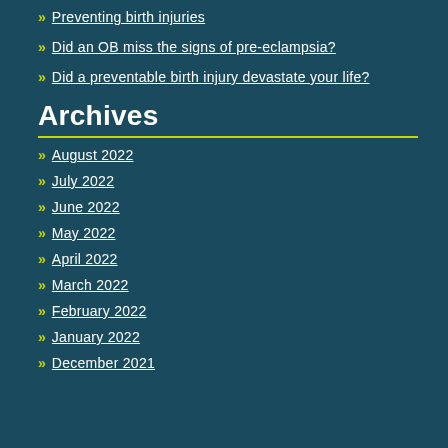Preventing birth injuries
Did an OB miss the signs of pre-eclampsia?
Did a preventable birth injury devastate your life?
Archives
August 2022
July 2022
June 2022
May 2022
April 2022
March 2022
February 2022
January 2022
December 2021